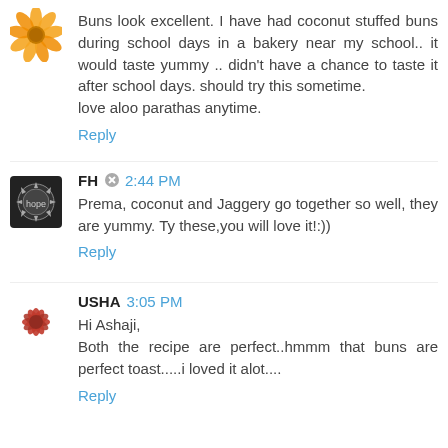[Figure (illustration): Orange flower avatar for first commenter]
Buns look excellent. I have had coconut stuffed buns during school days in a bakery near my school.. it would taste yummy .. didn't have a chance to taste it after school days. should try this sometime.
love aloo parathas anytime.
Reply
[Figure (illustration): Dark badge/medallion avatar with 'hope' text for FH]
FH  2:44 PM
Prema, coconut and Jaggery go together so well, they are yummy. Ty these,you will love it!:))
Reply
[Figure (illustration): Red flower avatar for USHA]
USHA  3:05 PM
Hi Ashaji,
Both the recipe are perfect..hmmm that buns are perfect toast.....i loved it alot....
Reply